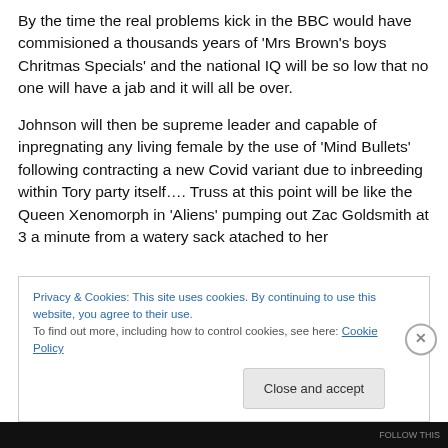By the time the real problems kick in the BBC would have commisioned a thousands years of 'Mrs Brown's boys Chritmas Specials' and the national IQ will be so low that no one will have a jab and it will all be over.
Johnson will then be supreme leader and capable of inpregnating any living female by the use of 'Mind Bullets' following contracting a new Covid variant due to inbreeding within Tory party itself…. Truss at this point will be like the Queen Xenomorph in 'Aliens' pumping out Zac Goldsmith at 3 a minute from a watery sack atached to her
Privacy & Cookies: This site uses cookies. By continuing to use this website, you agree to their use.
To find out more, including how to control cookies, see here: Cookie Policy